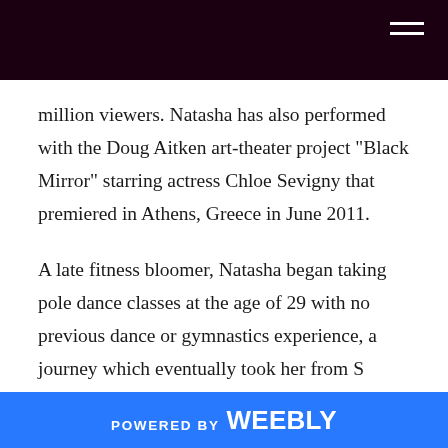million viewers. Natasha has also performed with the Doug Aitken art-theater project "Black Mirror" starring actress Chloe Sevigny that premiered in Athens, Greece in June 2011.
A late fitness bloomer, Natasha began taking pole dance classes at the age of 29 with no previous dance or gymnastics experience, a journey which eventually took her from S Factor to The Pole Garage, Be Spun and KineticTheory Circus Arts, where she studied contortion. Natasha currently instructs and trains at Los Angeles' The Choreography House, Be Spun and OC Pole Fitness, and is a principal dancer with Kelly Yvonne's Girl Next Door show.
POWERED BY weebly